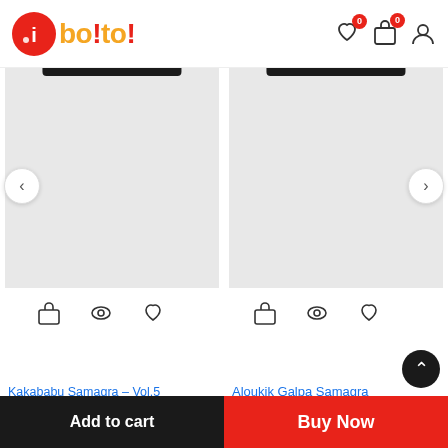[Figure (logo): Boito! e-commerce logo with orange circle icon on left and colorful boito! text]
[Figure (screenshot): Product image placeholder (grey box) for Kakababu Samagra Vol.5 with cart, eye, and heart action icons below]
[Figure (screenshot): Product image placeholder (grey box) for Aloukik Galpa Samagra with cart, eye, and heart action icons below]
Kakababu Samagra – Vol.5 (Hardcover, Bengali, Sunil Gangopadhyay)
₹340.00  ₹350.00
Aloukik Galpa Samagra
Brand: Ananda Publishers Pvt. Ltd.
Add to cart
Buy Now